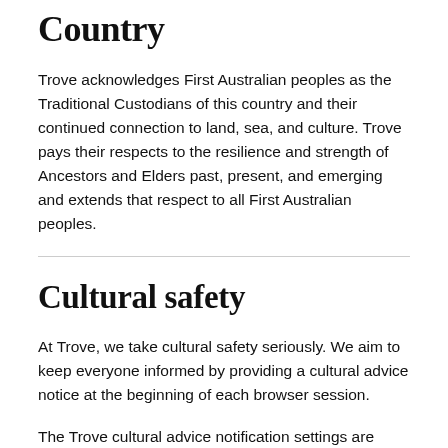Country
Trove acknowledges First Australian peoples as the Traditional Custodians of this country and their continued connection to land, sea, and culture. Trove pays their respects to the resilience and strength of Ancestors and Elders past, present, and emerging and extends that respect to all First Australian peoples.
Cultural safety
At Trove, we take cultural safety seriously. We aim to keep everyone informed by providing a cultural advice notice at the beginning of each browser session.
The Trove cultural advice notification settings are based on